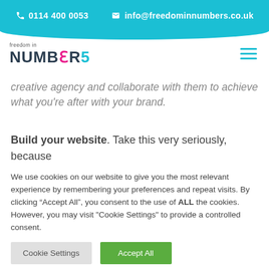0114 400 0053   info@freedominnumbers.co.uk
[Figure (logo): Freedom in Numbers logo with stylized text]
creative agency and collaborate with them to achieve what you're after with your brand.
Build your website. Take this very seriously, because
We use cookies on our website to give you the most relevant experience by remembering your preferences and repeat visits. By clicking “Accept All”, you consent to the use of ALL the cookies. However, you may visit "Cookie Settings" to provide a controlled consent.
Cookie Settings   Accept All